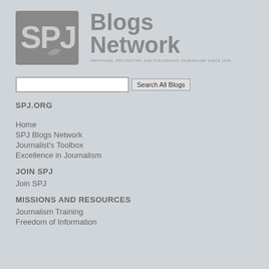[Figure (logo): SPJ Blogs Network logo with stylized SPJ letters in a square icon, followed by 'Blogs Network' text and tagline 'IMPROVING, PROTECTING AND DISCUSSING JOURNALISM SINCE 1909']
Search All Blogs
SPJ.ORG
Home
SPJ Blogs Network
Journalist's Toolbox
Excellence in Journalism
JOIN SPJ
Join SPJ
MISSIONS AND RESOURCES
Journalism Training
Freedom of Information